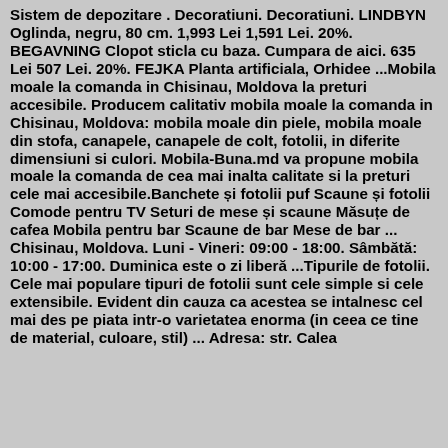Sistem de depozitare . Decoratiuni. Decoratiuni. LINDBYN Oglinda, negru, 80 cm. 1,993 Lei 1,591 Lei. 20%. BEGAVNING Clopot sticla cu baza. Cumpara de aici. 635 Lei 507 Lei. 20%. FEJKA Planta artificiala, Orhidee ...Mobila moale la comanda in Chisinau, Moldova la preturi accesibile. Producem calitativ mobila moale la comanda in Chisinau, Moldova: mobila moale din piele, mobila moale din stofa, canapele, canapele de colt, fotolii, in diferite dimensiuni si culori. Mobila-Buna.md va propune mobila moale la comanda de cea mai inalta calitate si la preturi cele mai accesibile.Banchete și fotolii puf Scaune și fotolii Comode pentru TV Seturi de mese și scaune Măsuțe de cafea Mobila pentru bar Scaune de bar Mese de bar ... Chisinau, Moldova. Luni - Vineri: 09:00 - 18:00. Sâmbătă: 10:00 - 17:00. Duminica este o zi liberă ...Tipurile de fotolii. Cele mai populare tipuri de fotolii sunt cele simple si cele extensibile. Evident din cauza ca acestea se intalnesc cel mai des pe piata intr-o varietatea enorma (in ceea ce tine de material, culoare, stil) ... Adresa: str. Calea